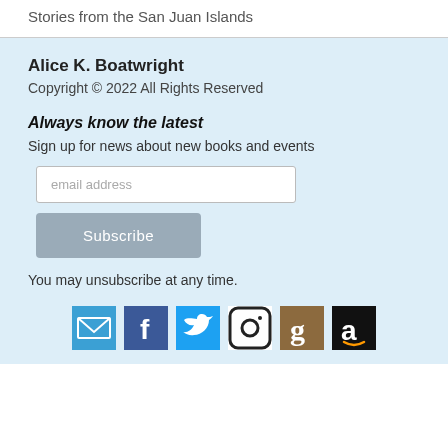Stories from the San Juan Islands
Alice K. Boatwright
Copyright © 2022 All Rights Reserved
Always know the latest
Sign up for news about new books and events
email address
Subscribe
You may unsubscribe at any time.
[Figure (illustration): Row of 6 social media icons: Email (blue envelope), Facebook (blue F), Twitter (blue bird), Instagram (camera outline), Goodreads (brown g), Amazon (black a)]